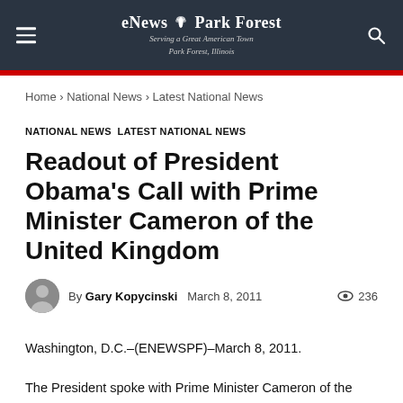eNews Park Forest — Serving a Great American Town, Park Forest, Illinois
Home › National News › Latest National News
NATIONAL NEWS  LATEST NATIONAL NEWS
Readout of President Obama's Call with Prime Minister Cameron of the United Kingdom
By Gary Kopycinski   March 8, 2011   236 views
Washington, D.C.–(ENEWSPF)–March 8, 2011.
The President spoke with Prime Minister Cameron of the